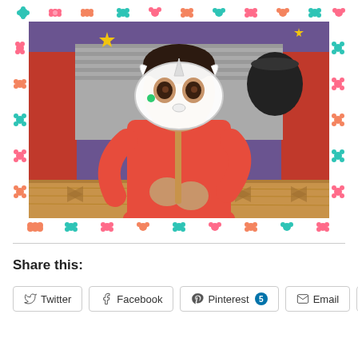[Figure (photo): A young child in a red top holding a decorative unicorn/animal mask on a stick up to their face, standing in front of a colorful classroom backdrop with Halloween/fantasy decorations. The photo is framed with a colorful floral border with teal, pink, orange flowers.]
Share this: